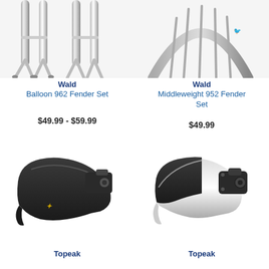[Figure (photo): Wald Balloon 962 Fender Set - chrome fender set with stand, top portion visible]
[Figure (photo): Wald Middleweight 952 Fender Set - chrome fender set with rack/comb structure, top portion visible]
Wald
Balloon 962 Fender Set
$49.99 - $59.99
Wald
Middleweight 952 Fender Set
$49.99
[Figure (photo): Black plastic mountain bike front fender/mudguard with mounting bracket]
[Figure (photo): Black and chrome mountain bike fender with quick-release mounting bracket]
Topeak
Topeak